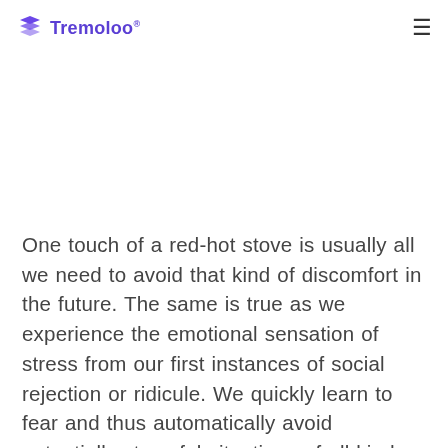Tremoloo
One touch of a red-hot stove is usually all we need to avoid that kind of discomfort in the future. The same is true as we experience the emotional sensation of stress from our first instances of social rejection or ridicule. We quickly learn to fear and thus automatically avoid potentially stressful situations of all kinds, including the most common of all: making